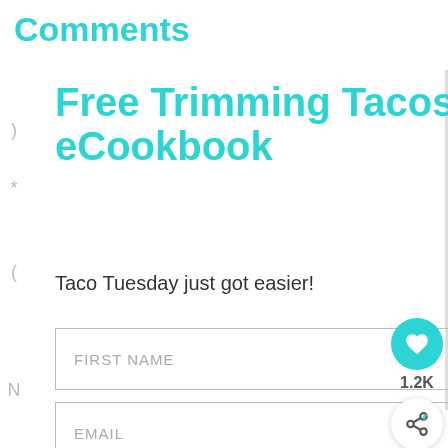Comments
Free Trimming Tacos eCookbook
Taco Tuesday just got easier!
FIRST NAME
EMAIL
SUBSCRIBE
1.2K
WHAT'S NEXT → 25+ THM Friendly Sid...
Ashburn OPEN 10:30AM–9PM 44155 Ashbrook Marketplace, As...